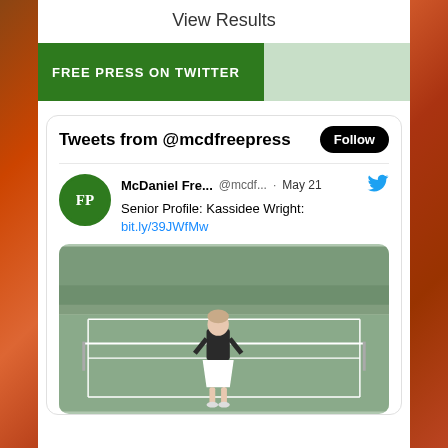View Results
FREE PRESS ON TWITTER
Tweets from @mcdfreepress
McDaniel Fre...  @mcdf...  · May 21
Senior Profile: Kassidee Wright: bit.ly/39JWfMw
[Figure (photo): A student standing on a tennis court wearing a black athletic top and white skirt, with tennis net and trees visible in background]